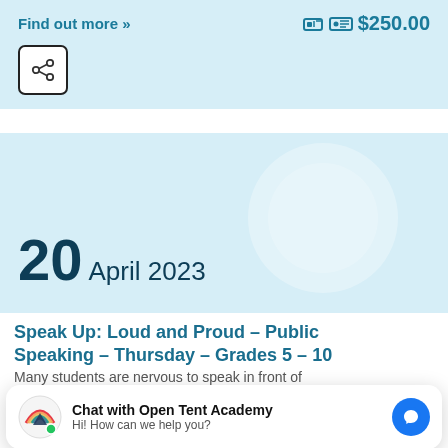Find out more »
$250.00
[Figure (illustration): Share button icon — a box with three circles connected by lines]
[Figure (illustration): Date card with light blue background, decorative circle watermark, showing date 20 April 2023]
20 April 2023
Speak Up: Loud and Proud – Public Speaking – Thursday – Grades 5 – 10
Many students are nervous to speak in front of
[Figure (illustration): Chat widget overlay showing Open Tent Academy logo, Chat with Open Tent Academy message, Hi! How can we help you?, and Facebook Messenger icon]
Chat with Open Tent Academy
Hi! How can we help you?